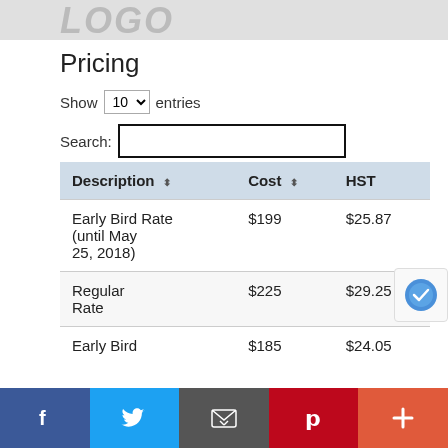[Figure (illustration): Decorative banner with large gray stylized text/logo at top of page]
Pricing
Show 10 entries
Search:
| Description | Cost | HST |
| --- | --- | --- |
| Early Bird Rate (until May 25, 2018) | $199 | $25.87 |
| Regular Rate | $225 | $29.25 |
| Early Bird | $185 | $24.05 |
Social sharing bar: Facebook, Twitter, Email, Pinterest, More